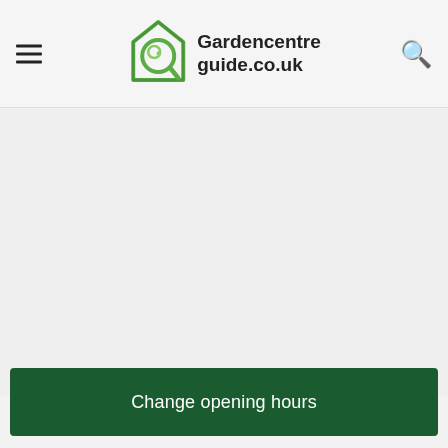Gardencentreguide.co.uk
[Figure (other): Large empty grey content area below the header navigation bar]
Change opening hours